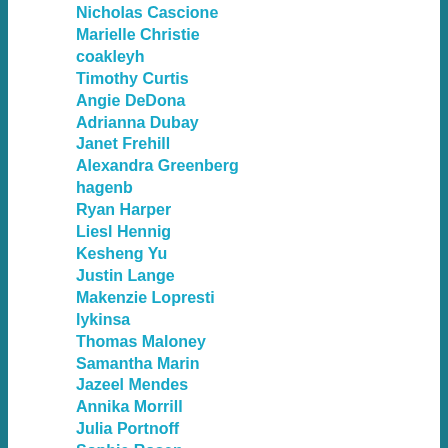Nicholas Cascione
Marielle Christie
coakleyh
Timothy Curtis
Angie DeDona
Adrianna Dubay
Janet Frehill
Alexandra Greenberg
hagenb
Ryan Harper
Liesl Hennig
Kesheng Yu
Justin Lange
Makenzie Lopresti
lykinsa
Thomas Maloney
Samantha Marin
Jazeel Mendes
Annika Morrill
Julia Portnoff
Sophie Rosen
Templeton Carter
Elly Vaughan
Jue Wang